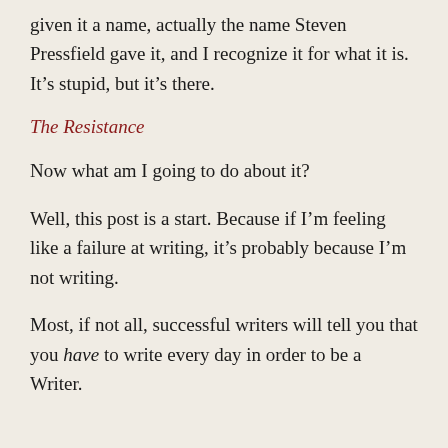given it a name, actually the name Steven Pressfield gave it, and I recognize it for what it is. It's stupid, but it's there.
The Resistance
Now what am I going to do about it?
Well, this post is a start. Because if I'm feeling like a failure at writing, it's probably because I'm not writing.
Most, if not all, successful writers will tell you that you have to write every day in order to be a Writer.